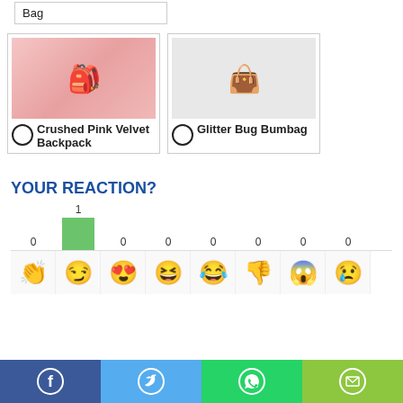Bag
[Figure (photo): Crushed Pink Velvet Backpack product image]
Crushed Pink Velvet Backpack
[Figure (photo): Glitter Bug Bumbag product image]
Glitter Bug Bumbag
YOUR REACTION?
[Figure (bar-chart): Reaction counts]
[Figure (infographic): Social share buttons: Facebook, Twitter, WhatsApp, Email]